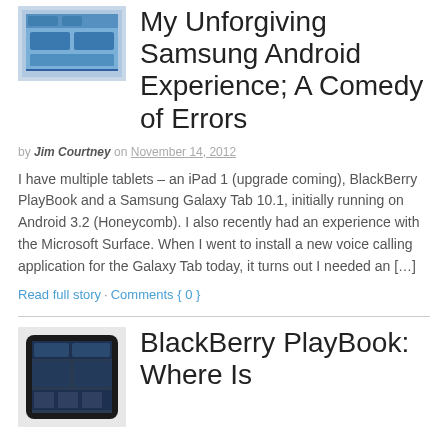[Figure (screenshot): Thumbnail image of a Samsung tablet showing Android interface]
My Unforgiving Samsung Android Experience; A Comedy of Errors
by Jim Courtney on November 14, 2012
I have multiple tablets – an iPad 1 (upgrade coming), BlackBerry PlayBook and a Samsung Galaxy Tab 10.1, initially running on Android 3.2 (Honeycomb). I also recently had an experience with the Microsoft Surface. When I went to install a new voice calling application for the Galaxy Tab today, it turns out I needed an […]
Read full story · Comments { 0 }
[Figure (screenshot): Thumbnail image of a BlackBerry PlayBook tablet]
BlackBerry PlayBook: Where Is